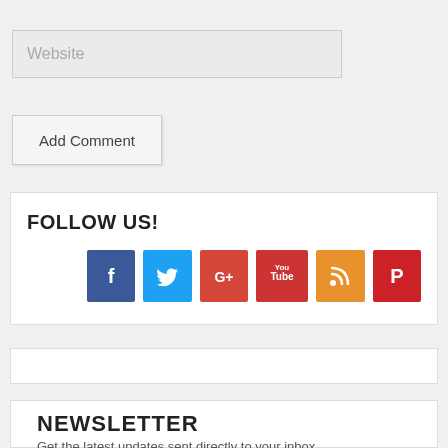Website
Add Comment
FOLLOW US!
[Figure (infographic): Social media icons: Facebook (blue), Twitter (light blue), Google+ (red-orange), YouTube (red), RSS (orange), Pinterest (red)]
NEWSLETTER
Get the latest updates sent directly to your inbox.